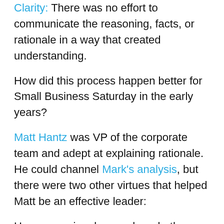Clarity: There was no effort to communicate the reasoning, facts, or rationale in a way that created understanding.
How did this process happen better for Small Business Saturday in the early years?
Matt Hantz was VP of the corporate team and adept at explaining rationale. He could channel Mark's analysis, but there were two other virtues that helped Matt be an effective leader:
He grew up in a home where both parents were small business people, and he has a gift for developing clear explanations. Next week, when we talk about Structured Messaging, you'll see how he nailed this for the Small Business Saturday team in the early days. For now, check this out: